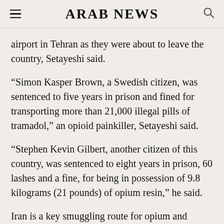ARAB NEWS
airport in Tehran as they were about to leave the country, Setayeshi said.
“Simon Kasper Brown, a Swedish citizen, was sentenced to five years in prison and fined for transporting more than 21,000 illegal pills of tramadol,” an opioid painkiller, Setayeshi said.
“Stephen Kevin Gilbert, another citizen of this country, was sentenced to eight years in prison, 60 lashes and a fine, for being in possession of 9.8 kilograms (21 pounds) of opium resin,” he said.
Iran is a key smuggling route for opium and heroin from neighboring Afghanistan, the